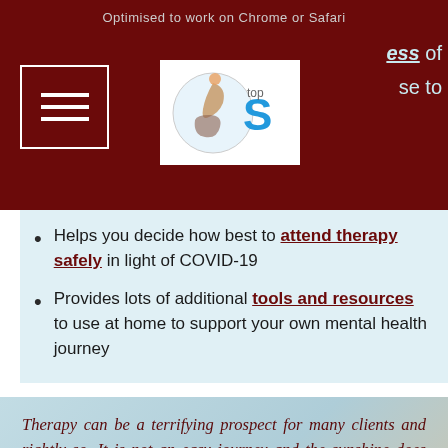Optimised to work on Chrome or Safari
Helps you decide how best to attend therapy safely in light of COVID-19
Provides lots of additional tools and resources to use at home to support your own mental health journey
Therapy can be a terrifying prospect for many clients and rightly so. It is not an easy journey and the sunshine does not always come quickly. It may take you to places that are painful dark, depress... despairing. It